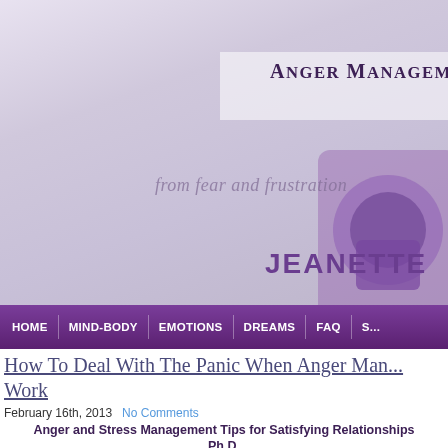[Figure (screenshot): Website header banner with purple/lavender gradient background, showing partial title 'Anger Management For' in dark serif font, italic tagline 'from fear and frustration', a partial lock icon graphic on the right, and 'JEANETTE' in bold purple text.]
ANGER MANAGEMENT FOR
from fear and frustration
JEANETTE
HOME   MIND-BODY   EMOTIONS   DREAMS   FAQ   S...
How To Deal With The Panic When Anger Man... Work
February 16th, 2013   No Comments
Anger and Stress Management Tips for Satisfying Relationships Ph.D.